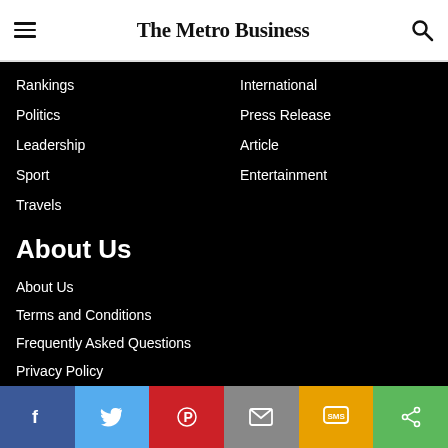The Metro Business
Rankings
Politics
Leadership
Sport
Travels
International
Press Release
Article
Entertainment
About Us
About Us
Terms and Conditions
Frequently Asked Questions
Privacy Policy
Terms of Use
Contact Us
Social sharing bar: Facebook, Twitter, Pinterest, Email, SMS, Share